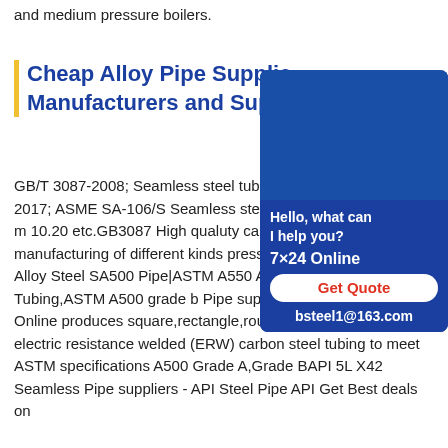and medium pressure boilers.
Cheap Alloy Pipe Suppliers, Manufacturers and Suppliers
[Figure (photo): Chat support widget showing a woman with a headset, text 'Hello, what can I help you?', '7×24 Online', 'Get Quote' button, and email 'bsteel1@163.com' on a dark blue background.]
GB/T 3087-2008; Seamless steel tubes for boilers.GB/T 5310-2017; ASME SA-106/S Seamless steel tubes for high / low and medium pressure boilers 10.20 etc.GB3087 High qualuty carbon steel pipes for manufacturing of different kinds of pressure boilers. Best-Selling Alloy Steel SA500 Pipe|ASTM A550 AteelASTM A50 Tubing,ASTM A500 grade b Pipe suppliers in India .Steelpipes Online produces square,rectangle,round and special shaped electric resistance welded (ERW) carbon steel tubing to meet ASTM specifications A500 Grade A,Grade BAPI 5L X42 Seamless Pipe suppliers - API Steel Pipe API Get Best deals on